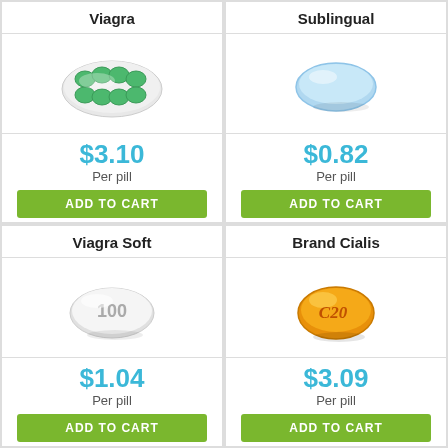Viagra
[Figure (illustration): Green blister pack of pills]
$3.10 Per pill
ADD TO CART
Sublingual
[Figure (illustration): Single blue diamond-shaped pill]
$0.82 Per pill
ADD TO CART
Viagra Soft
[Figure (illustration): White oval pill labeled 100]
$1.04 Per pill
ADD TO CART
Brand Cialis
[Figure (illustration): Yellow/orange C20 pill]
$3.09 Per pill
ADD TO CART